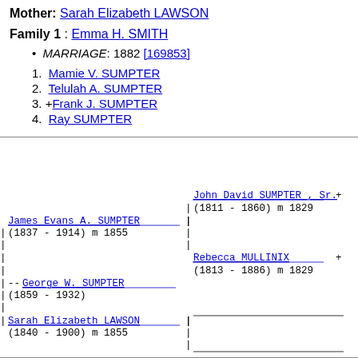Mother: Sarah Elizabeth LAWSON
Family 1 : Emma H. SMITH
MARRIAGE: 1882 [169853]
1. Mamie V. SUMPTER
2. Telulah A. SUMPTER
3. +Frank J. SUMPTER
4. Ray SUMPTER
[Figure (other): Genealogical pedigree tree showing James Evans A. SUMPTER (1837-1914) m 1855 connected to parents John David SUMPTER Sr. (1811-1860) m 1829 and Rebecca MULLINIX (1813-1886) m 1829; child George W. SUMPTER (1859-1932); and Sarah Elizabeth LAWSON (1840-1900) m 1855 with blank maternal lines.]